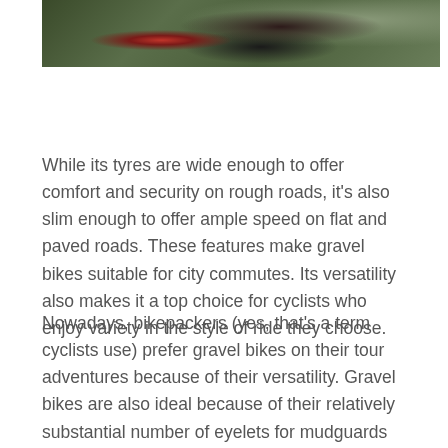[Figure (photo): Close-up photo of a bicycle tyre/wheel on a gravel or outdoor surface with green foliage in the background and a red heart-shaped detail visible on the tyre.]
While its tyres are wide enough to offer comfort and security on rough roads, it's also slim enough to offer ample speed on flat and paved roads. These features make gravel bikes suitable for city commutes. Its versatility also makes it a top choice for cyclists who enjoy variety in the style of ride they choose.
Nowadays, bikepackers (yes, that's a term cyclists use) prefer gravel bikes on their tour adventures because of their versatility. Gravel bikes are also ideal because of their relatively substantial number of eyelets for mudguards and other accessories. The scope of their design is adequate enough to